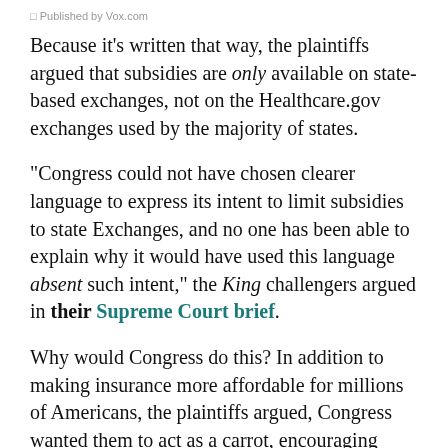Published by Vox.com
Because it's written that way, the plaintiffs argued that subsidies are only available on state-based exchanges, not on the Healthcare.gov exchanges used by the majority of states.
"Congress could not have chosen clearer language to express its intent to limit subsidies to state Exchanges, and no one has been able to explain why it would have used this language absent such intent," the King challengers argued in their Supreme Court brief.
Why would Congress do this? In addition to making insurance more affordable for millions of Americans, the plaintiffs argued, Congress wanted them to act as a carrot, encouraging states to set up their own